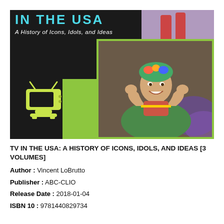[Figure (illustration): Book cover for 'TV in the USA: A History of Icons, Idols, and Ideas'. Dark background with cyan/teal title text at top, a green bar design element, a yellow-green retro TV icon illustration, a photo of a woman in colorful costume smiling at bottom right, and a smaller photo of legs in the top right corner.]
TV IN THE USA: A HISTORY OF ICONS, IDOLS, AND IDEAS [3 VOLUMES]
Author : Vincent LoBrutto
Publisher : ABC-CLIO
Release Date : 2018-01-04
ISBN 10 : 9781440829734